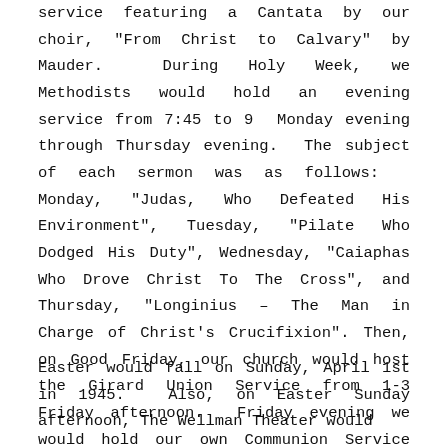service featuring a Cantata by our choir, "From Christ to Calvary" by Mauder. During Holy Week, we Methodists would hold an evening service from 7:45 to 9 Monday evening through Thursday evening. The subject of each sermon was as follows: Monday, "Judas, Who Defeated His Environment", Tuesday, "Pilate Who Dodged His Duty", Wednesday, "Caiaphas Who Drove Christ To The Cross", and Thursday, "Longinius – The Man in Charge of Christ's Crucifixion". Then, on Good Friday, our church would host the Girard Union Service from 1-3 Friday afternoon. Friday evening we would hold our own Communion Service with the sermon title "Dismas, Who Spoke To Jesus About The Error of His Own Ways".
Easter would fall on Sunday, April 1st in 1945. Also, on Easter Sunday afternoon, The Wellman Theater would